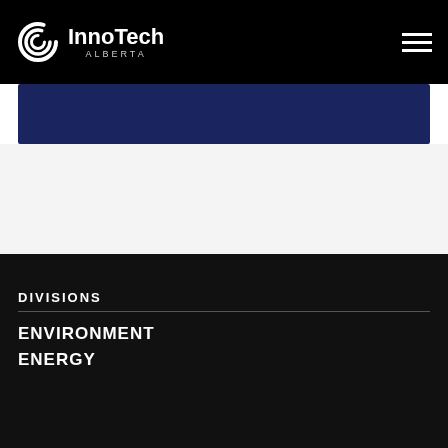[Figure (logo): InnoTech Alberta logo — spiral 'C' icon in white followed by 'InnoTech' in bold white and 'ALBERTA' in small caps below]
[Figure (illustration): Hamburger menu icon (three horizontal white lines) in top-right corner]
[Figure (illustration): Dark navy blue banner/rectangle below navigation bar]
DIVISIONS
ENVIRONMENT
ENERGY